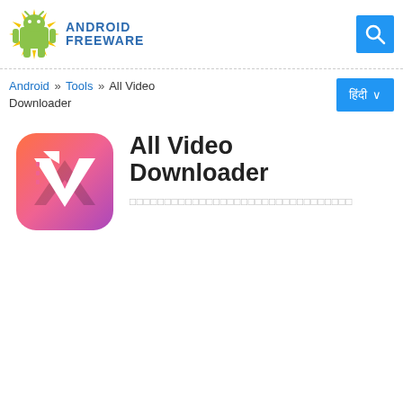[Figure (logo): Android Freeware logo with Android robot icon and yellow sun rays, blue text ANDROID FREEWARE]
[Figure (other): Blue search button with magnifying glass icon]
Android » Tools » All Video Downloader
हिंदी ∨
[Figure (logo): All Video Downloader app icon - orange/pink/purple gradient with white V arrow and film strip pattern]
All Video Downloader
□□□□□□□□□□□□□□□□□□□□□□□□□□□□□□□□□□□□□□□□□□□